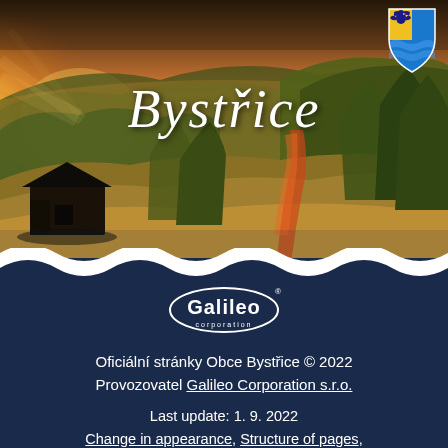[Figure (photo): Aerial sunset landscape photo of Bystřice village with hills, trees, and a wooden barn in golden light. Municipal coat of arms (eagle and water waves) shown top-right. 'Bystřice' written in white italic script over the photo.]
[Figure (logo): Galileo Corporation logo — oval outline with 'Galileo' in bold and 'corporation' in small text below, with registered trademark symbol.]
Oficiální stránky Obce Bystřice © 2022
Provozovatel Galileo Corporation s.r.o.
Last update: 1. 9. 2022
Change in appearance, Structure of pages,
Prohlášení o přístupnosti, Cookies